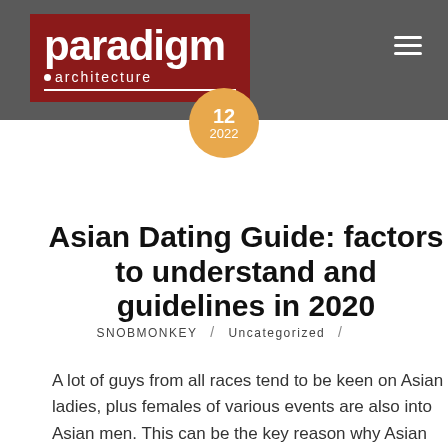paradigm architecture
12
2022
Asian Dating Guide: factors to understand and guidelines in 2020
SNOBMONKEY / Uncategorized /
A lot of guys from all races tend to be keen on Asian ladies, plus females of various events are also into Asian men. This can be the key reason why Asian dating is becoming more and more popular. The word Asian often means several places as the one of the largest continents! From internet dating individuals